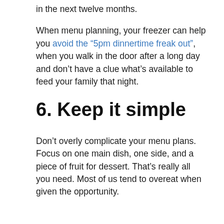in the next twelve months.
When menu planning, your freezer can help you avoid the “5pm dinnertime freak out”, when you walk in the door after a long day and don’t have a clue what’s available to feed your family that night.
6. Keep it simple
Don’t overly complicate your menu plans. Focus on one main dish, one side, and a piece of fruit for dessert. That’s really all you need. Most of us tend to overeat when given the opportunity.